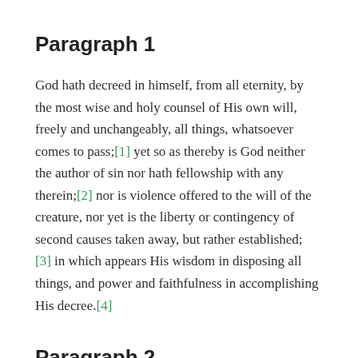Paragraph 1
God hath decreed in himself, from all eternity, by the most wise and holy counsel of His own will, freely and unchangeably, all things, whatsoever comes to pass;[1] yet so as thereby is God neither the author of sin nor hath fellowship with any therein;[2] nor is violence offered to the will of the creature, nor yet is the liberty or contingency of second causes taken away, but rather established;[3] in which appears His wisdom in disposing all things, and power and faithfulness in accomplishing His decree.[4]
Paragraph 2